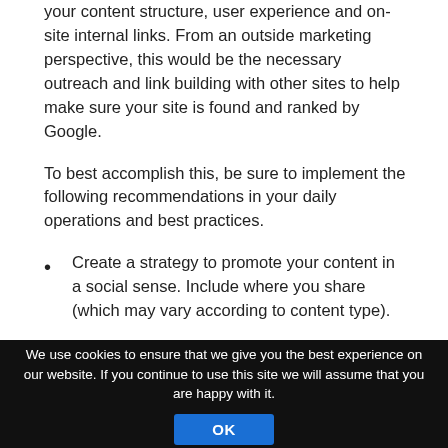your content structure, user experience and on-site internal links. From an outside marketing perspective, this would be the necessary outreach and link building with other sites to help make sure your site is found and ranked by Google.
To best accomplish this, be sure to implement the following recommendations in your daily operations and best practices.
Create a strategy to promote your content in a social sense. Include where you share (which may vary according to content type).
We use cookies to ensure that we give you the best experience on our website. If you continue to use this site we will assume that you are happy with it.